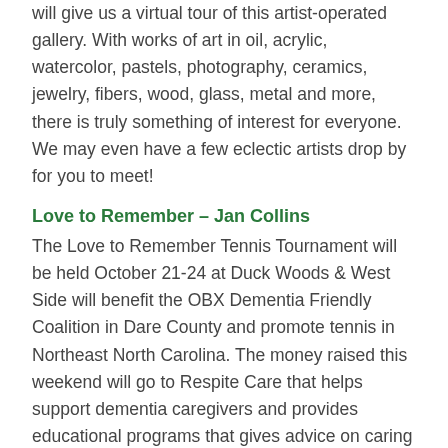will give us a virtual tour of this artist-operated gallery. With works of art in oil, acrylic, watercolor, pastels, photography, ceramics, jewelry, fibers, wood, glass, metal and more, there is truly something of interest for everyone. We may even have a few eclectic artists drop by for you to meet!
Love to Remember – Jan Collins
The Love to Remember Tennis Tournament will be held October 21-24 at Duck Woods & West Side will benefit the OBX Dementia Friendly Coalition in Dare County and promote tennis in Northeast North Carolina. The money raised this weekend will go to Respite Care that helps support dementia caregivers and provides educational programs that gives advice on caring for their loved ones through the different paths and stages of dementia. Everyone knows someone who has been affected with Memory Loss. We are trying to become the first Dementia Friendly Community in North Carolina. We have the First Dementia Friendly Hospital and over 20 Dementia Friendly